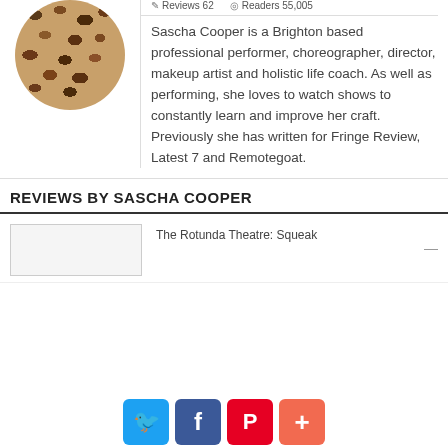[Figure (photo): Circular avatar photo of Sascha Cooper with leopard print pattern]
Reviews 62    Readers 55,005
Sascha Cooper is a Brighton based professional performer, choreographer, director, makeup artist and holistic life coach. As well as performing, she loves to watch shows to constantly learn and improve her craft. Previously she has written for Fringe Review, Latest 7 and Remotegoat.
REVIEWS BY SASCHA COOPER
[Figure (photo): Thumbnail image for review of The Rotunda Theatre: Squeak]
The Rotunda Theatre: Squeak